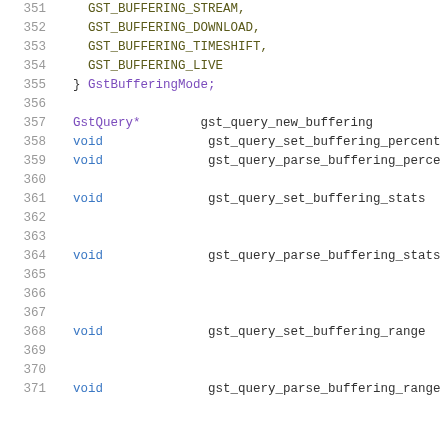351    GST_BUFFERING_STREAM,
352    GST_BUFFERING_DOWNLOAD,
353    GST_BUFFERING_TIMESHIFT,
354    GST_BUFFERING_LIVE
355  } GstBufferingMode;
356
357  GstQuery*    gst_query_new_buffering
358  void         gst_query_set_buffering_percent
359  void         gst_query_parse_buffering_percent
360
361  void         gst_query_set_buffering_stats
362
363
364  void         gst_query_parse_buffering_stats
365
366
367
368  void         gst_query_set_buffering_range
369
370
371  void         gst_query_parse_buffering_range